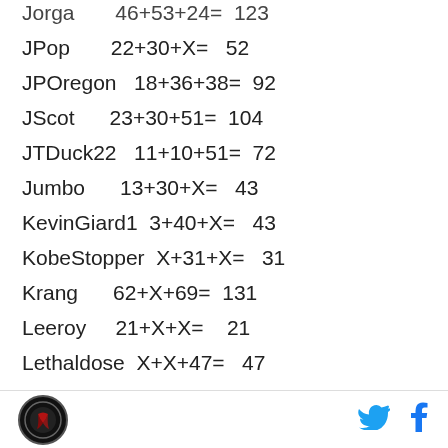Jorga       46+53+24=   123
JPop        22+30+X=    52
JPOregon    18+36+38=   92
JScot       23+30+51=   104
JTDuck22    11+10+51=   72
Jumbo       13+30+X=    43
KevinGiard1  3+40+X=    43
KobeStopper  X+31+X=    31
Krang       62+X+69=    131
Leeroy      21+X+X=     21
Lethaldose  X+X+47=     47
Lily        23+50+48=   121
Living      35+30+X=    65
Macnepdx    X+X+40=     40
Mangodilla  20+60+X=    80
Logo | Twitter | Facebook